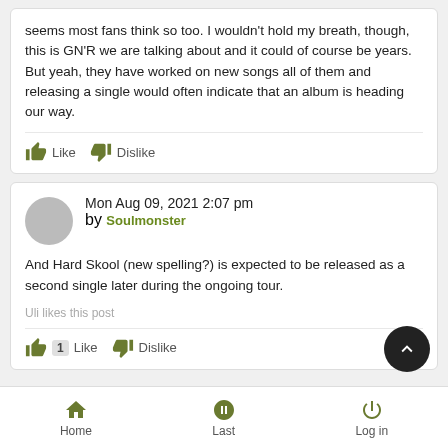seems most fans think so too. I wouldn't hold my breath, though, this is GN'R we are talking about and it could of course be years. But yeah, they have worked on new songs all of them and releasing a single would often indicate that an album is heading our way.
Mon Aug 09, 2021 2:07 pm by Soulmonster
And Hard Skool (new spelling?) is expected to be released as a second single later during the ongoing tour.
Uli likes this post
Home  Last  Log in